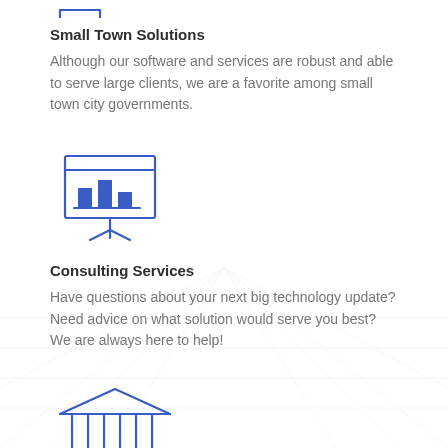[Figure (illustration): Blue outline icon of a small town/city building (partially visible at top)]
Small Town Solutions
Although our software and services are robust and able to serve large clients, we are a favorite among small town city governments.
[Figure (illustration): Blue outline icon of a presentation board/easel with a bar chart on it]
Consulting Services
Have questions about your next big technology update? Need advice on what solution would serve you best? We are always here to help!
[Figure (illustration): Blue outline icon of a classical government building with columns (partially visible at bottom)]